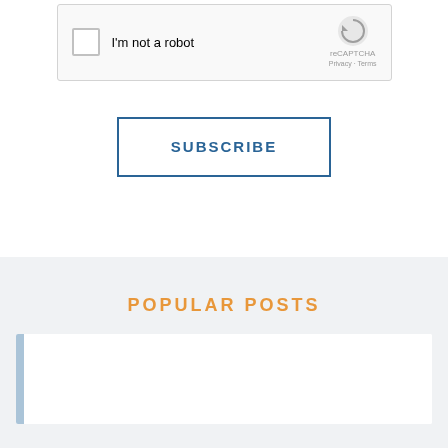[Figure (screenshot): reCAPTCHA widget with checkbox labeled 'I'm not a robot', reCAPTCHA logo, Privacy and Terms links]
SUBSCRIBE
POPULAR POSTS
[Figure (screenshot): White post card area with a blue left bar, representing a popular post entry]